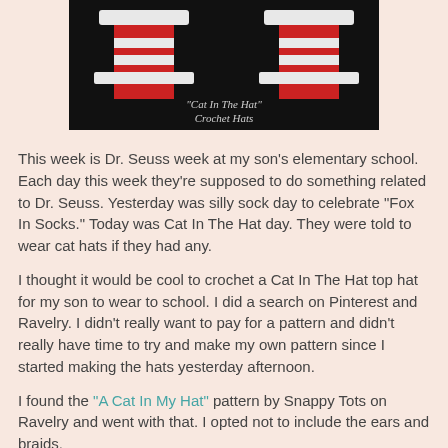[Figure (photo): Photo of two red and white striped Cat In The Hat crochet hats on a dark background, with overlay text reading '"Cat In The Hat" Crochet Hats']
This week is Dr. Seuss week at my son's elementary school. Each day this week they're supposed to do something related to Dr. Seuss. Yesterday was silly sock day to celebrate "Fox In Socks." Today was Cat In The Hat day. They were told to wear cat hats if they had any.
I thought it would be cool to crochet a Cat In The Hat top hat for my son to wear to school. I did a search on Pinterest and Ravelry. I didn't really want to pay for a pattern and didn't really have time to try and make my own pattern since I started making the hats yesterday afternoon.
I found the "A Cat In My Hat" pattern by Snappy Tots on Ravelry and went with that. I opted not to include the ears and braids.